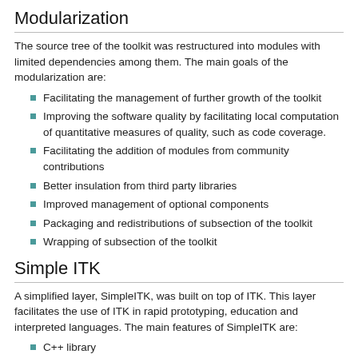Modularization
The source tree of the toolkit was restructured into modules with limited dependencies among them. The main goals of the modularization are:
Facilitating the management of further growth of the toolkit
Improving the software quality by facilitating local computation of quantitative measures of quality, such as code coverage.
Facilitating the addition of modules from community contributions
Better insulation from third party libraries
Improved management of optional components
Packaging and redistributions of subsection of the toolkit
Wrapping of subsection of the toolkit
Simple ITK
A simplified layer, SimpleITK, was built on top of ITK. This layer facilitates the use of ITK in rapid prototyping, education and interpreted languages. The main features of SimpleITK are:
C++ library
Object-oriented
Provides a simplified, easy-to-use, procedural interface without templates
Is distributed under an open source Apache 2.0 License